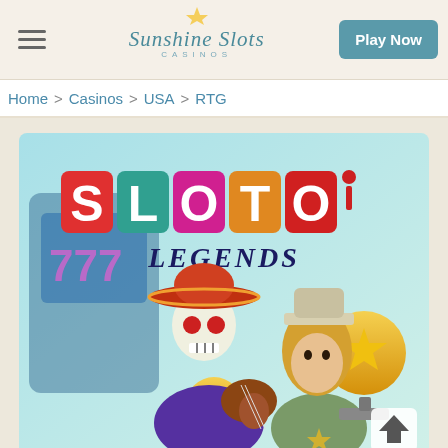Sunshine Slots Casinos | Play Now
Home > Casinos > USA > RTG
[Figure (screenshot): Sloto Legends casino game promotional image featuring a skeleton mariachi character and a cowgirl character with the 'SLOTO LEGENDS' logo in colorful blocks at the top, slot machine 777 visible in background]